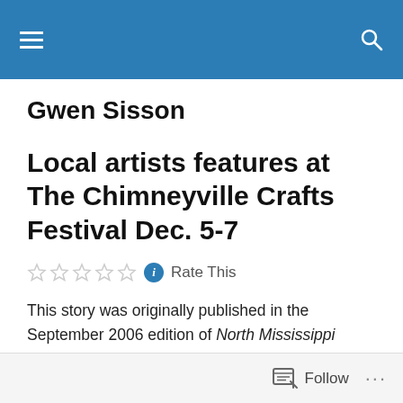Gwen Sisson — site header bar
Gwen Sisson
Local artists features at The Chimneyville Crafts Festival Dec. 5-7
Rate This
This story was originally published in the September 2006 edition of North Mississippi Christian Family — Valvespring Pottery will be part of The Craftsmen's Guild
Follow ...